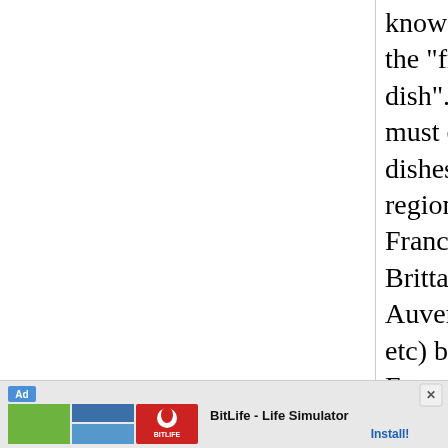know what would be the "french national dish". As you know, must of the french dishes are in fact regional dishes of France (meaning from Brittany, Savoy, Auvergne, Burgundy, etc) but not ... French. From my point of view, I would say that the
[Figure (other): Advertisement banner at bottom of page for BitLife - Life Simulator app, with Ad label, green/blue/red images, app name and Install button]